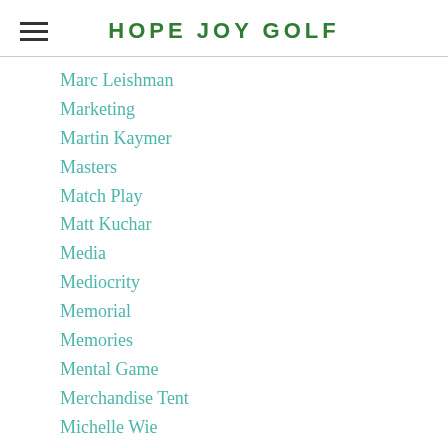HOPE JOY GOLF
Marc Leishman
Marketing
Martin Kaymer
Masters
Match Play
Matt Kuchar
Media
Mediocrity
Memorial
Memories
Mental Game
Merchandise Tent
Michelle Wie
Mike Gray
Minnesota
Mom & Dad
Money